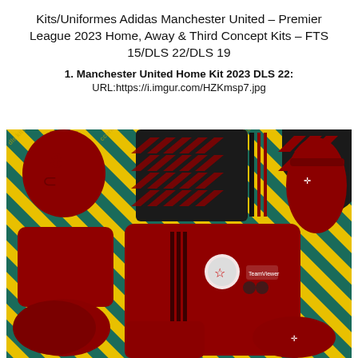Kits/Uniformes Adidas Manchester United – Premier League 2023 Home, Away & Third Concept Kits – FTS 15/DLS 22/DLS 19
1. Manchester United Home Kit 2023 DLS 22:
URL:https://i.imgur.com/HZKmsp7.jpg
[Figure (illustration): Manchester United Home Kit 2023 DLS 22 kit template image showing red football kit pieces (jersey, shorts, socks, goalkeeper gloves) arranged on a teal/yellow diagonal striped background with watermark text. The jersey shows Adidas stripes and club crest area.]